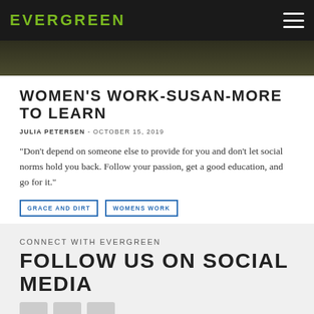EVERGREEN
[Figure (photo): Dark muted hero image background, olive/dark green tones]
WOMEN'S WORK-SUSAN-MORE TO LEARN
JULIA PETERSEN - OCTOBER 15, 2019
“Don’t depend on someone else to provide for you and don’t let social norms hold you back. Follow your passion, get a good education, and go for it.”
GRACE AND DIRT
WOMENS WORK
CONNECT WITH EVERGREEN
FOLLOW US ON SOCIAL MEDIA